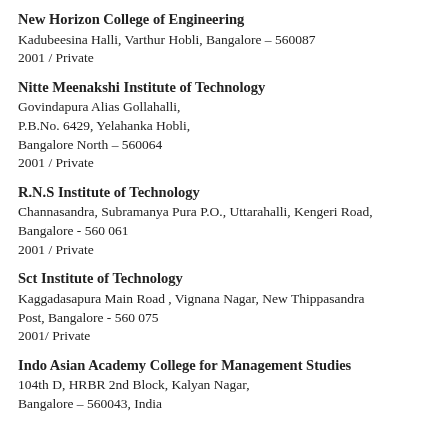New Horizon College of Engineering
Kadubeesina Halli, Varthur Hobli, Bangalore – 560087
2001 / Private
Nitte Meenakshi Institute of Technology
Govindapura Alias Gollahalli,
P.B.No. 6429, Yelahanka Hobli,
Bangalore North – 560064
2001 / Private
R.N.S Institute of Technology
Channasandra, Subramanya Pura P.O., Uttarahalli, Kengeri Road, Bangalore - 560 061
2001 / Private
Sct Institute of Technology
Kaggadasapura Main Road , Vignana Nagar, New Thippasandra Post, Bangalore - 560 075
2001/ Private
Indo Asian Academy College for Management Studies
104th D, HRBR 2nd Block, Kalyan Nagar,
Bangalore – 560043, India